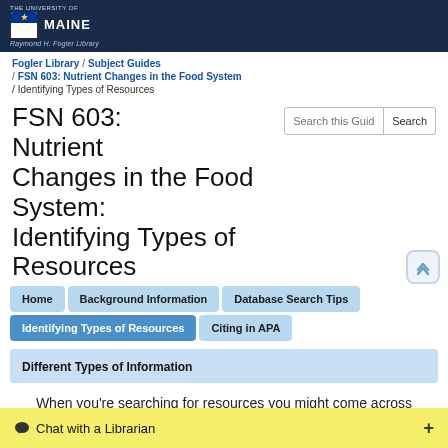[Figure (logo): University of Maine – Raymond H. Fogler Library logo on dark navy header bar]
Fogler Library / Subject Guides / FSN 603: Nutrient Changes in the Food System / Identifying Types of Resources
FSN 603: Nutrient Changes in the Food System: Identifying Types of Resources
Different Types of Information
When you're searching for resources you might come across several different types. You'll find Journal Articles, Conference Proceedings, Book Chapters and more.
Chat with a Librarian